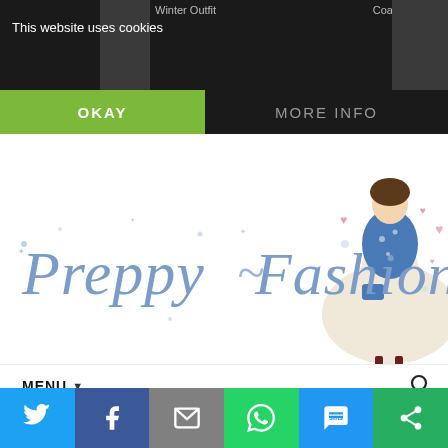Winter Outfit
Coat
This website uses cookies
OKAY
MORE INFO
[Figure (illustration): Preppy Fashionist blog logo with decorative hand-drawn text and illustration of a fashionable woman in a skirt with scattered hearts and flowers]
MENU ▼
WINTER PLAYSUIT
Sharing is caring!
[Figure (infographic): Social sharing bar with icons for Twitter, Facebook, Email, WhatsApp, SMS, and More options]